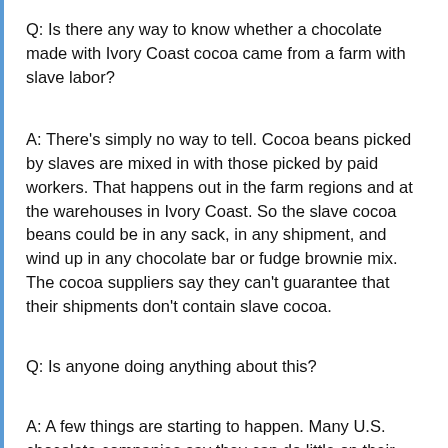Q: Is there any way to know whether a chocolate made with Ivory Coast cocoa came from a farm with slave labor?
A: There's simply no way to tell. Cocoa beans picked by slaves are mixed in with those picked by paid workers. That happens out in the farm regions and at the warehouses in Ivory Coast. So the slave cocoa beans could be in any sack, in any shipment, and wind up in any chocolate bar or fudge brownie mix. The cocoa suppliers say they can't guarantee that their shipments don't contain slave cocoa.
Q: Is anyone doing anything about this?
A: A few things are starting to happen. Many U.S. chocolate companies say they can do little on their own and are looking for answers from their trade group, the Chocolate Manufacturers Association. When we first started asking CMA officials about the slaves we'd seen in Ivory Coast, they said they were unaware of any evidence of slavery. Since then,